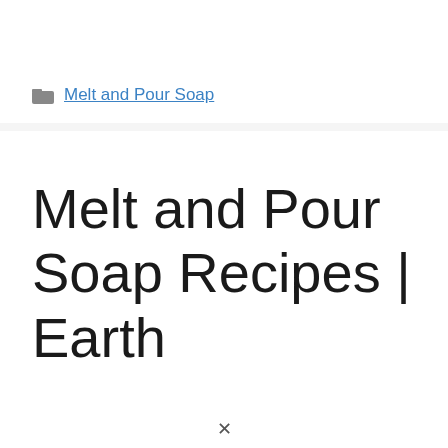Melt and Pour Soap
Melt and Pour Soap Recipes | Earth